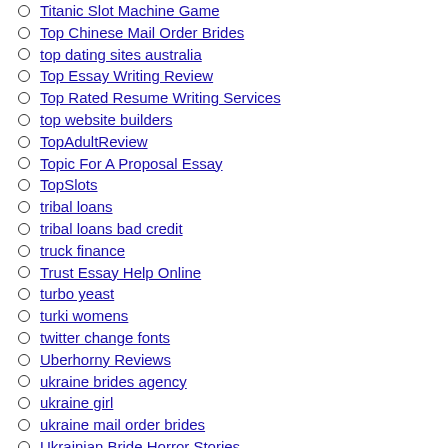Titanic Slot Machine Game
Top Chinese Mail Order Brides
top dating sites australia
Top Essay Writing Review
Top Rated Resume Writing Services
top website builders
TopAdultReview
Topic For A Proposal Essay
TopSlots
tribal loans
tribal loans bad credit
truck finance
Trust Essay Help Online
turbo yeast
turki womens
twitter change fonts
Uberhorny Reviews
ukraine brides agency
ukraine girl
ukraine mail order brides
Ukrainian Bride Horror Stories
ukrainian brides
Ukrainian Girls
Ukrainian Mail Order Bride
Ukrainian Wife
Ukrainian Women Dating
Uncategorized
uncategorizedessay writing company testimonials
uncategorizedfree penny slots
Uncategorizedt